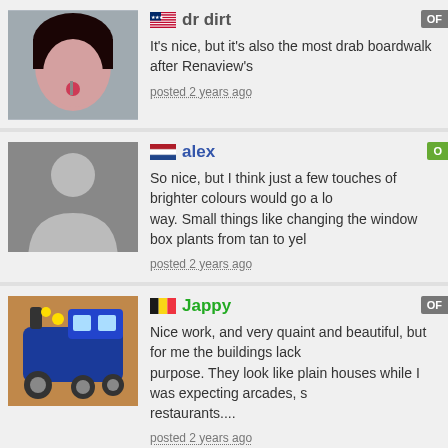dr dirt — It's nice, but it's also the most drab boardwalk after Renaview's — posted 2 years ago
alex — So nice, but I think just a few touches of brighter colours would go a long way. Small things like changing the window box plants from tan to yel... — posted 2 years ago
Jappy — Nice work, and very quaint and beautiful, but for me the buildings lack purpose. They look like plain houses while I was expecting arcades, s... restaurants.... — posted 2 years ago
Milo — The texture of the blue canvas blows but the use of it is intricate and s... enough to pull it off. The rest is classy, as always.